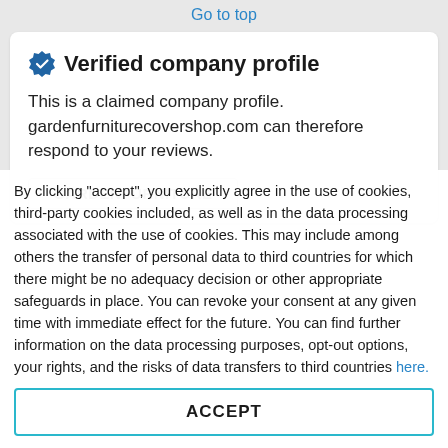Go to top
Verified company profile
This is a claimed company profile. gardenfurniturecovershop.com can therefore respond to your reviews.
[Figure (other): Partially visible button or label reading GARDENFURNITURE]
By clicking "accept", you explicitly agree in the use of cookies, third-party cookies included, as well as in the data processing associated with the use of cookies. This may include among others the transfer of personal data to third countries for which there might be no adequacy decision or other appropriate safeguards in place. You can revoke your consent at any given time with immediate effect for the future. You can find further information on the data processing purposes, opt-out options, your rights, and the risks of data transfers to third countries here.
ACCEPT